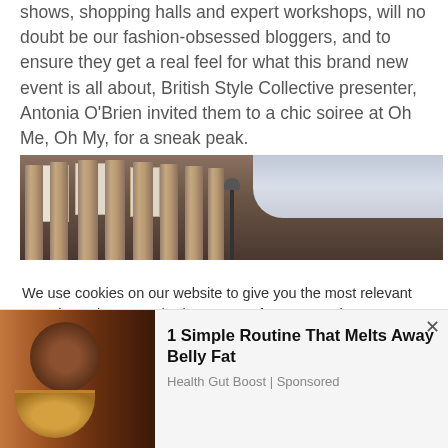shows, shopping halls and expert workshops, will no doubt be our fashion-obsessed bloggers, and to ensure they get a real feel for what this brand new event is all about, British Style Collective presenter, Antonia O'Brien invited them to a chic soiree at Oh Me, Oh My, for a sneak peak.
[Figure (photo): Exterior photo of a large classical building with tall stone columns and hanging banners, blue sky visible on the right side, with a lamp post in the foreground.]
We use cookies on our website to give you the most relevant experience by remembering your preferences and repeat visits. By clicking "Accept All", you consent to the use of ALL the cookies. However, you may visit "Cookie Settings" to provide a controlled consent.
[Figure (photo): Advertisement image showing a person wearing glasses and holding a bowl of food.]
1 Simple Routine That Melts Away Belly Fat
Health Gut Boost | Sponsored